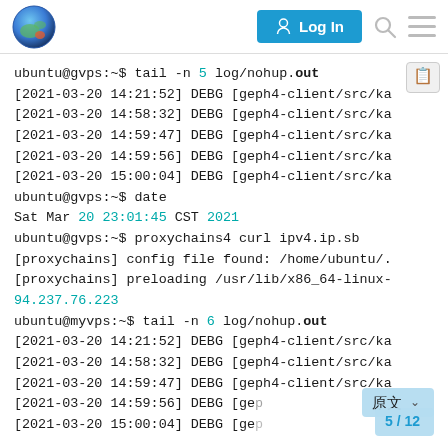Navigation bar with logo, Log In button, search and menu icons
[Figure (screenshot): Terminal/code block screenshot showing tail and date commands with DEBG log output, proxychains curl output, and IP address 94.237.76.223]
ubuntu@gvps:~$ tail -n 5 log/nohup.out
[2021-03-20 14:21:52] DEBG [geph4-client/src/ka
[2021-03-20 14:58:32] DEBG [geph4-client/src/ka
[2021-03-20 14:59:47] DEBG [geph4-client/src/ka
[2021-03-20 14:59:56] DEBG [geph4-client/src/ka
[2021-03-20 15:00:04] DEBG [geph4-client/src/ka
ubuntu@gvps:~$ date
Sat Mar 20 23:01:45 CST 2021
ubuntu@gvps:~$ proxychains4 curl ipv4.ip.sb
[proxychains] config file found: /home/ubuntu/.
[proxychains] preloading /usr/lib/x86_64-linux-
94.237.76.223
ubuntu@myvps:~$ tail -n 6 log/nohup.out
[2021-03-20 14:21:52] DEBG [geph4-client/src/ka
[2021-03-20 14:58:32] DEBG [geph4-client/src/ka
[2021-03-20 14:59:47] DEBG [geph4-client/src/ka
[2021-03-20 14:59:56] DEBG [ge
[2021-03-20 15:00:04] DEBG [ge